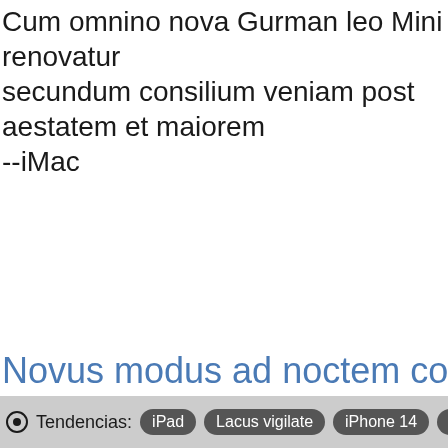Cum omnino nova Gurman leo Mini renovatur secundum consilium veniam post aestatem et maiorem --iMac
Novus modus ad noctem consequat...
Tendencias: iPad   Lacus vigilate   iPhone 14   i...